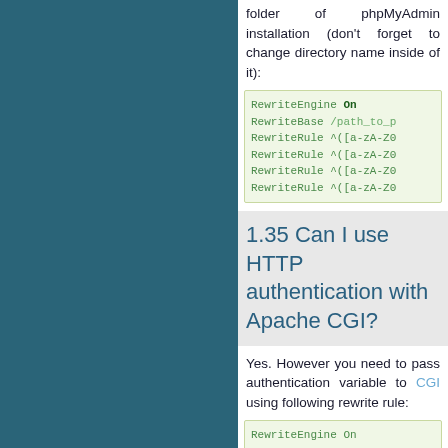folder of phpMyAdmin installation (don't forget to change directory name inside of it):
[Figure (screenshot): Code block showing Apache rewrite rules: RewriteEngine On, RewriteBase /path_to_p, RewriteRule ^([a-zA-Z0... (4 lines)]
1.35 Can I use HTTP authentication with Apache CGI?
Yes. However you need to pass authentication variable to CGI using following rewrite rule:
[Figure (screenshot): Code block showing: RewriteEngine On]